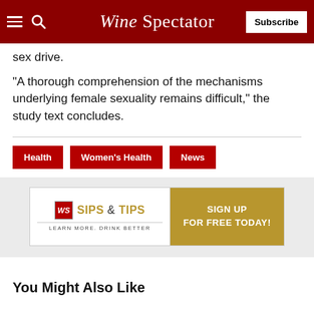Wine Spectator
sex drive.
"A thorough comprehension of the mechanisms underlying female sexuality remains difficult," the study text concludes.
Health
Women's Health
News
[Figure (screenshot): WS Sips & Tips advertisement banner: 'LEARN MORE. DRINK BETTER. SIGN UP FOR FREE TODAY!']
You Might Also Like